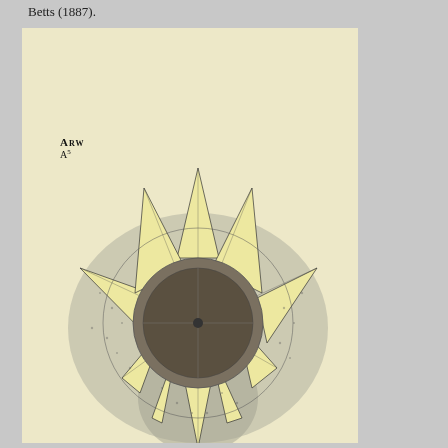Betts (1887).
[Figure (illustration): A botanical/geometric illustration of a sunflower head viewed from above, drawn on cream/yellow paper. The flower shows geometric construction lines radiating from the center dark disk, with pointed pale yellow petals arranged in a star pattern. The background has shaded stippling suggesting shadow. In the upper left of the illustration plate is a label reading 'ARW' and below it 'A5'.]
ARW
A5